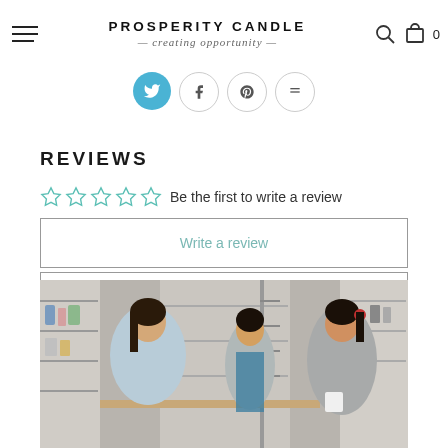PROSPERITY CANDLE — creating opportunity —
[Figure (infographic): Social media sharing icons row: Twitter/blue, Facebook, Pinterest, and a share/more button]
REVIEWS
☆☆☆☆☆  Be the first to write a review
Write a review
Ask a question
[Figure (photo): Three women working in a candle workshop with shelves of products in the background. Two women in foreground appear to be making candles at a table.]